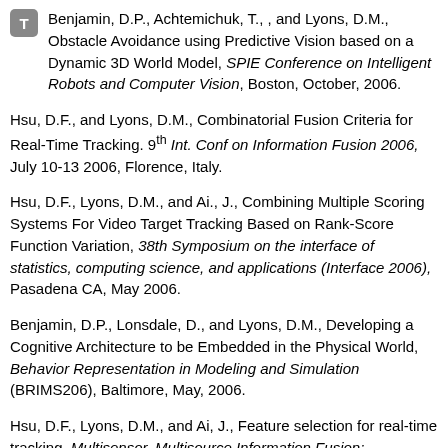Benjamin, D.P., Achtemichuk, T., , and Lyons, D.M., Obstacle Avoidance using Predictive Vision based on a Dynamic 3D World Model, SPIE Conference on Intelligent Robots and Computer Vision, Boston, October, 2006.
Hsu, D.F., and Lyons, D.M., Combinatorial Fusion Criteria for Real-Time Tracking. 9th Int. Conf on Information Fusion 2006, July 10-13 2006, Florence, Italy.
Hsu, D.F., Lyons, D.M., and Ai., J., Combining Multiple Scoring Systems For Video Target Tracking Based on Rank-Score Function Variation, 38th Symposium on the interface of statistics, computing science, and applications (Interface 2006), Pasadena CA, May 2006.
Benjamin, D.P., Lonsdale, D., and Lyons, D.M., Developing a Cognitive Architecture to be Embedded in the Physical World, Behavior Representation in Modeling and Simulation (BRIMS206), Baltimore, May, 2006.
Hsu, D.F., Lyons, D.M., and Ai, J., Feature selection for real-time tracking. Multisensor, Multisource Information Fusion: Architectures, Algorithms, and Applications 2006 at the SPIE